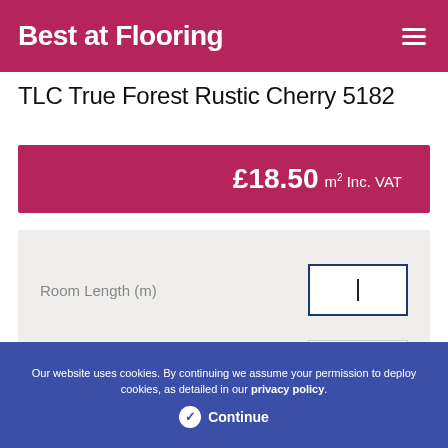Best at Flooring
TLC True Forest Rustic Cherry 5182
£18.50 m² Inc. VAT
Room Length (m)
Room Width (m)
Total Product Coverage (m²)  3.34
Our website uses cookies. By continuing we assume your permission to deploy cookies, as detailed in our privacy policy.
Continue